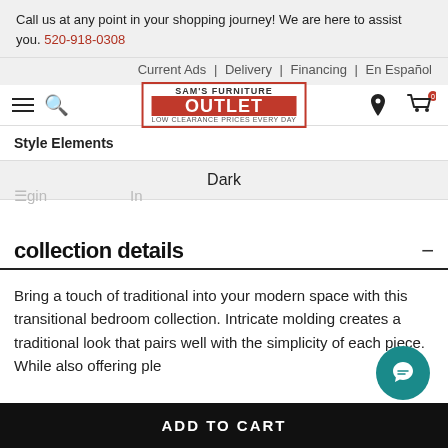Call us at any point in your shopping journey! We are here to assist you. 520-918-0308
Current Ads | Delivery | Financing | En Español
[Figure (logo): Sam's Furniture Outlet logo with red border and red background on OUTLET text]
| Style Elements |  |
| --- | --- |
| Dark |  |
collection details
Bring a touch of traditional into your modern space with this transitional bedroom collection. Intricate molding creates a traditional look that pairs well with the simplicity of each piece. While also offering ple...